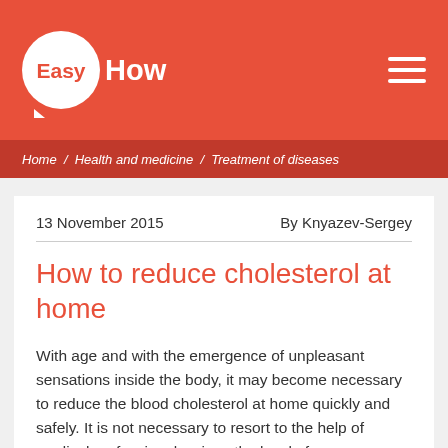Easy How
Home / Health and medicine / Treatment of diseases
13 November 2015   By Knyazev-Sergey
How to reduce cholesterol at home
With age and with the emergence of unpleasant sensations inside the body, it may become necessary to reduce the blood cholesterol at home quickly and safely. It is not necessary to resort to the help of medical professionals, since the level of